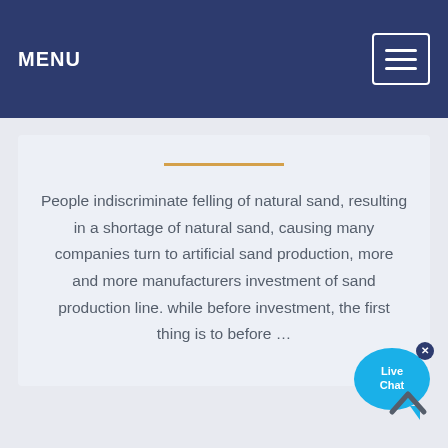MENU
People indiscriminate felling of natural sand, resulting in a shortage of natural sand, causing many companies turn to artificial sand production, more and more manufacturers investment of sand production line. while before investment, the first thing is to before …
[Figure (other): Live Chat button overlay — a blue circular speech bubble with 'Live Chat' text and a close (×) button]